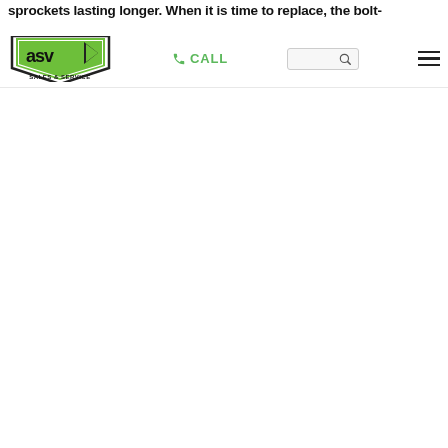sprockets lasting longer. When it is time to replace, the bolt-
[Figure (logo): ASV Sales & Service logo — green and black stylized shield shape with 'asv' text and 'SALES & SERVICE' below]
CALL  [search bar]  [hamburger menu]